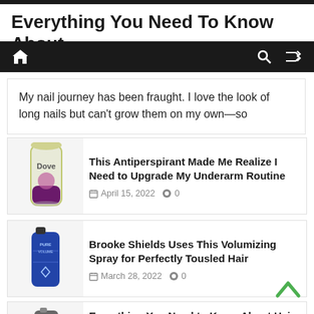Everything You Need To Know About
My nail journey has been fraught. I love the look of long nails but can't grow them on my own—so
This Antiperspirant Made Me Realize I Need to Upgrade My Underarm Routine
April 15, 2022  0
Brooke Shields Uses This Volumizing Spray for Perfectly Tousled Hair
March 28, 2022  0
Everything You Need to Know About Hair Toner